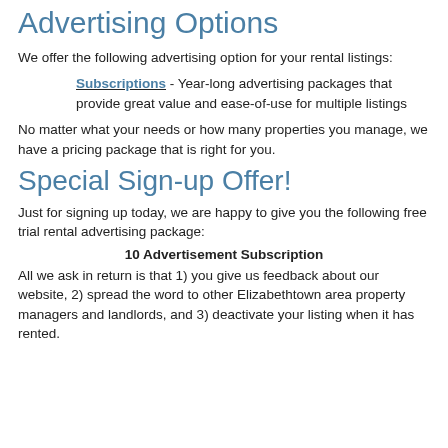Advertising Options
We offer the following advertising option for your rental listings:
Subscriptions - Year-long advertising packages that provide great value and ease-of-use for multiple listings
No matter what your needs or how many properties you manage, we have a pricing package that is right for you.
Special Sign-up Offer!
Just for signing up today, we are happy to give you the following free trial rental advertising package:
10 Advertisement Subscription
All we ask in return is that 1) you give us feedback about our website, 2) spread the word to other Elizabethtown area property managers and landlords, and 3) deactivate your listing when it has rented.